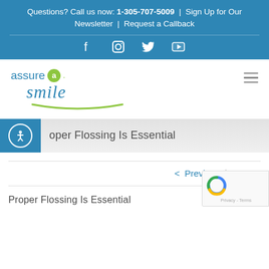Questions? Call us now: 1-305-707-5009 | Sign Up for Our Newsletter | Request a Callback
[Figure (screenshot): Social media icons bar: Facebook, Instagram, Twitter, YouTube]
[Figure (logo): Assure a Smile dental practice logo with blue and green text]
oper Flossing Is Essential
< Previous  Next >
Proper Flossing Is Essential